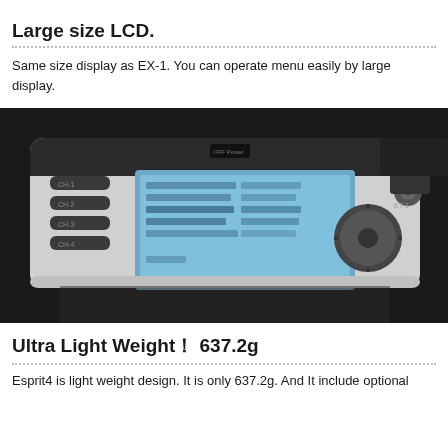Large size LCD.
Same size display as EX-1. You can operate menu easily by large display.
[Figure (photo): Close-up photo of an RC transmitter (radio controller) showing a large blue LCD screen displaying menu text, four channel buttons on the left (CH-1 through CH-4), power switch at top, a large scroll dial and two smaller knobs on the right, on a dark/black background.]
Ultra Light Weight！  637.2g
Esprit4 is light weight design. It is only 637.2g. And It include optional